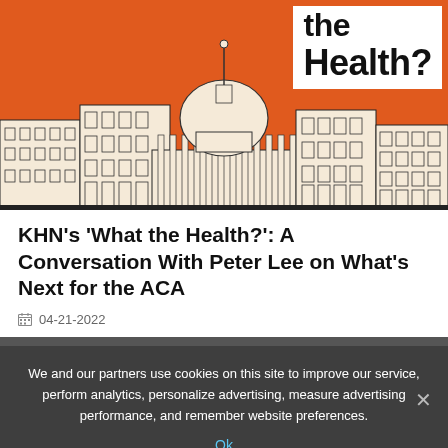[Figure (illustration): Orange background illustration of the US Capitol building and surrounding government buildings in a hand-drawn style. White text box in upper right reads 'the Health?' in bold black text.]
KHN's 'What the Health?': A Conversation With Peter Lee on What's Next for the ACA
04-21-2022
We and our partners use cookies on this site to improve our service, perform analytics, personalize advertising, measure advertising performance, and remember website preferences.
Ok